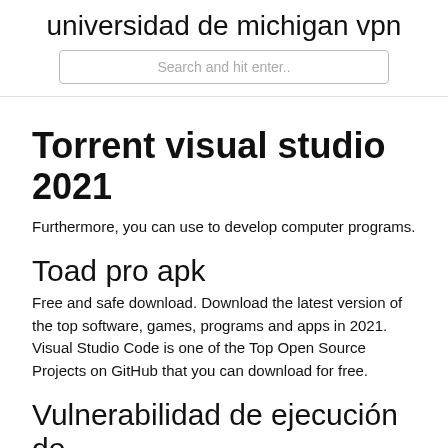universidad de michigan vpn
Search and hit enter..
Torrent visual studio 2021
Furthermore, you can use to develop computer programs.
Toad pro apk
Free and safe download. Download the latest version of the top software, games, programs and apps in 2021. Visual Studio Code is one of the Top Open Source Projects on GitHub that you can download for free.
Vulnerabilidad de ejecución de